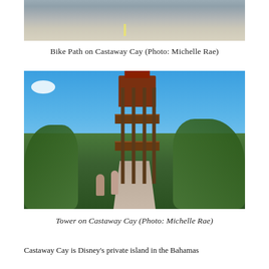[Figure (photo): Bike path on Castaway Cay — paved road with gravel/sandy surroundings, partial view from top of page]
Bike Path on Castaway Cay (Photo: Michelle Rae)
[Figure (photo): Tall wooden observation tower on Castaway Cay with multiple platforms and a roofed top level, blue sky background, tropical vegetation on sides, two people with bicycles at base]
Tower on Castaway Cay (Photo: Michelle Rae)
Castaway Cay is Disney's private island in the Bahamas